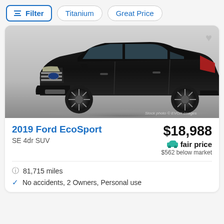Filter | Titanium | Great Price
[Figure (photo): Black 2019 Ford EcoSport SUV side/front 3/4 view on white/grey background. Stock photo © EVOX Images watermark visible in lower right corner.]
2019 Ford EcoSport
SE 4dr SUV
$18,988
fair price
$562 below market
81,715 miles
No accidents, 2 Owners, Personal use